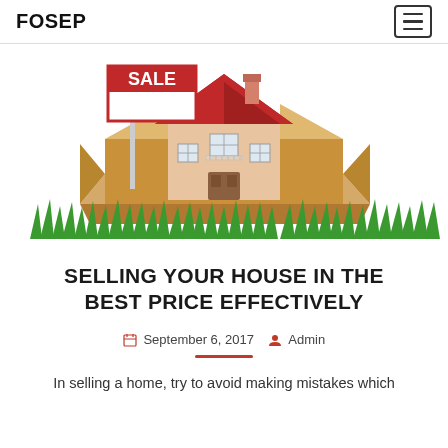FOSEP
[Figure (illustration): A model house with a red roof sitting inside an open cardboard moving box, with a 'FOR SALE' sign on a pole to the left, and green grass along the bottom. White background.]
SELLING YOUR HOUSE IN THE BEST PRICE EFFECTIVELY
September 6, 2017  Admin
In selling a home, try to avoid making mistakes which